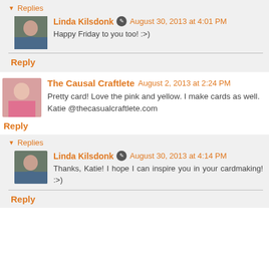▼ Replies
Linda Kilsdonk ✎ August 30, 2013 at 4:01 PM
Happy Friday to you too! :>)
Reply
The Causal Craftlete August 2, 2013 at 2:24 PM
Pretty card! Love the pink and yellow. I make cards as well. Katie @thecasualcraftlete.com
Reply
▼ Replies
Linda Kilsdonk ✎ August 30, 2013 at 4:14 PM
Thanks, Katie! I hope I can inspire you in your cardmaking! :>)
Reply